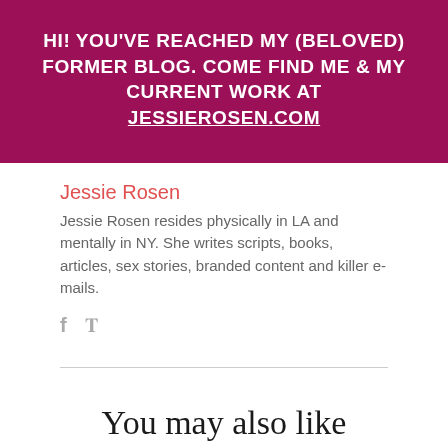HI! YOU'VE REACHED MY (BELOVED) FORMER BLOG. COME FIND ME & MY CURRENT WORK AT JESSIEROSEN.COM
Jessie Rosen
Jessie Rosen resides physically in LA and mentally in NY. She writes scripts, books, articles, sex stories, branded content and killer e-mails.
You may also like